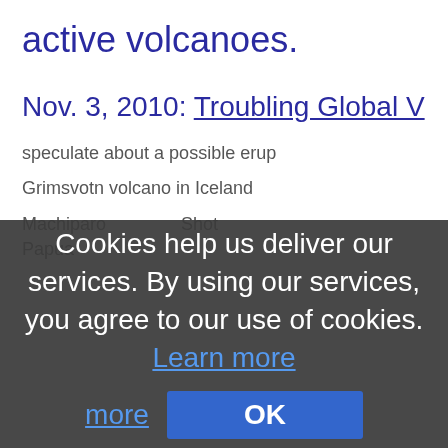active volcanoes.
Nov. 3, 2010: Troubling Global V
Cookies help us deliver our services. By using our services, you agree to our use of cookies. Learn more
OK